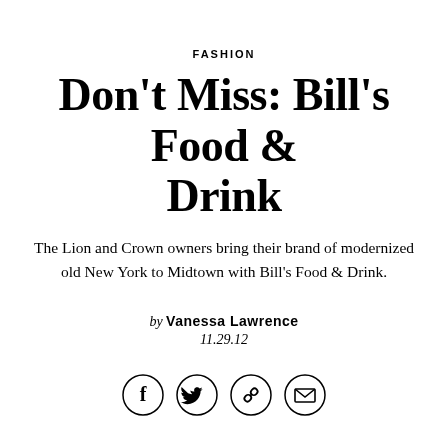FASHION
Don’t Miss: Bill’s Food & Drink
The Lion and Crown owners bring their brand of modernized old New York to Midtown with Bill’s Food & Drink.
by Vanessa Lawrence
11.29.12
[Figure (other): Four circular social sharing icons: Facebook (f), Twitter (bird), Link (chain), Email (envelope)]